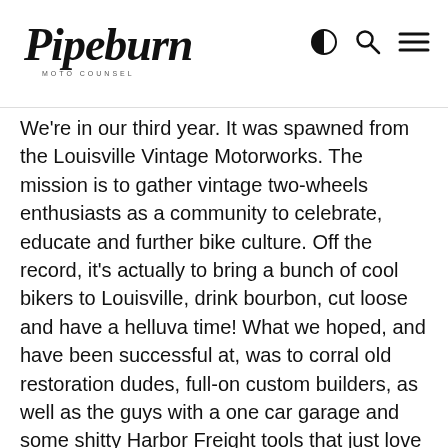Pipeburn Moto Counsel — website header with logo, theme toggle, search, and menu icons
We're in our third year. It was spawned from the Louisville Vintage Motorworks. The mission is to gather vintage two-wheels enthusiasts as a community to celebrate, educate and further bike culture. Off the record, it's actually to bring a bunch of cool bikers to Louisville, drink bourbon, cut loose and have a helluva time! What we hoped, and have been successful at, was to corral old restoration dudes, full-on custom builders, as well as the guys with a one car garage and some shitty Harbor Freight tools that just love doing something creative with their motorcycles.
In addition, we've managed to grab some of the old-timers and current folks that dig the tradition of old chops and bobbers. It's a very well-rounded show with folks from as far as Canada, Texas, Philly and